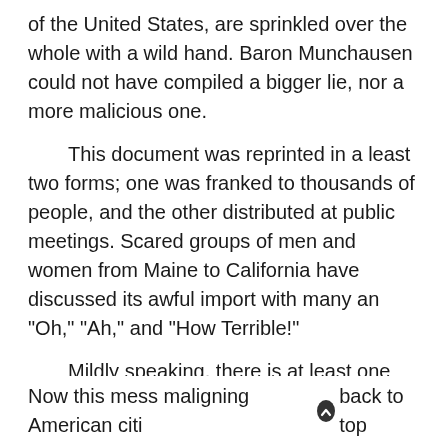of the United States, are sprinkled over the whole with a wild hand. Baron Munchausen could not have compiled a bigger lie, nor a more malicious one.
This document was reprinted in a least two forms; one was franked to thousands of people, and the other distributed at public meetings. Scared groups of men and women from Maine to California have discussed its awful import with many an "Oh," "Ah," and "How Terrible!"
Mildly speaking, there is at least one big downright lie to each of the sixty-nine columns, while little ones are scattered all over it like pepper and salt. If it contains any truth at all, it is buried so deep that an excavating expedition would be needed to find it.
Now this mess maligning American citizens and sub
back to top